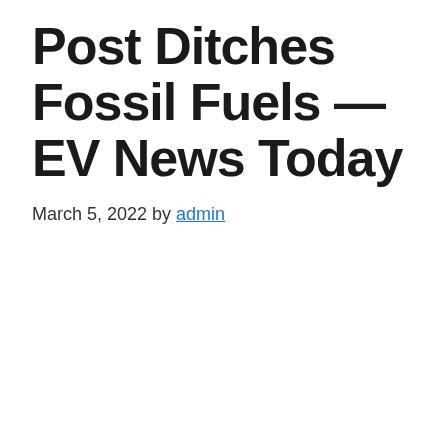Post Ditches Fossil Fuels — EV News Today
March 5, 2022 by admin